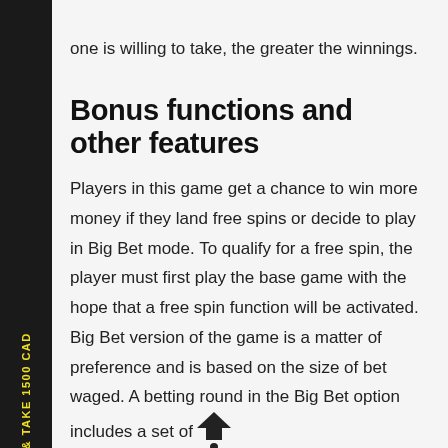one is willing to take, the greater the winnings.
Bonus functions and other features
Players in this game get a chance to win more money if they land free spins or decide to play in Big Bet mode. To qualify for a free spin, the player must first play the base game with the hope that a free spin function will be activated. Big Bet version of the game is a matter of preference and is based on the size of bet waged. A betting round in the Big Bet option includes a set of consecutive spins, and any wins obtained are accumulated over to the last spin.
PARIMATCH & TAKE 1500 CAD